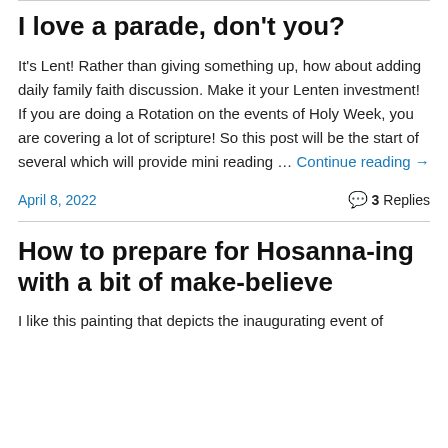I love a parade, don't you?
It's Lent! Rather than giving something up, how about adding daily family faith discussion. Make it your Lenten investment! If you are doing a Rotation on the events of Holy Week, you are covering a lot of scripture! So this post will be the start of several which will provide mini reading … Continue reading →
April 8, 2022
3 Replies
How to prepare for Hosanna-ing with a bit of make-believe
I like this painting that depicts the inaugurating event of